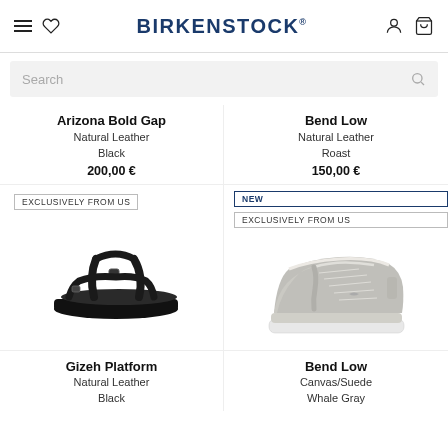BIRKENSTOCK
Search
Arizona Bold Gap
Natural Leather
Black
200,00 €
Bend Low
Natural Leather
Roast
150,00 €
EXCLUSIVELY FROM US
NEW
EXCLUSIVELY FROM US
[Figure (photo): Black Birkenstock Gizeh Platform sandal with thick platform sole]
[Figure (photo): Gray Birkenstock Bend Low sneaker with white sole and laces]
Gizeh Platform
Natural Leather
Black
Bend Low
Canvas/Suede
Whale Gray